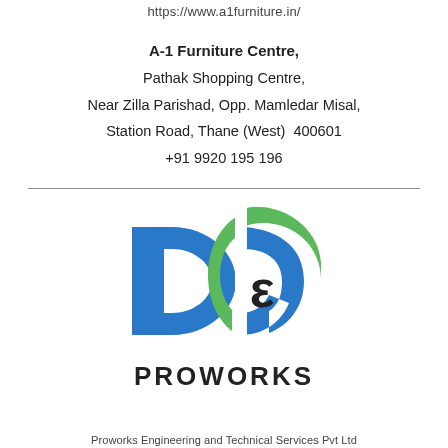https://www.a1furniture.in/
A-1 Furniture Centre,
Pathak Shopping Centre,
Near Zilla Parishad, Opp. Mamledar Misal,
Station Road, Thane (West)  400601
+91 9920 195 196
[Figure (logo): DCe Proworks logo with blue D and C shapes and green arc, with text PROWORKS below]
Proworks Engineering and Technical Services Pvt Ltd